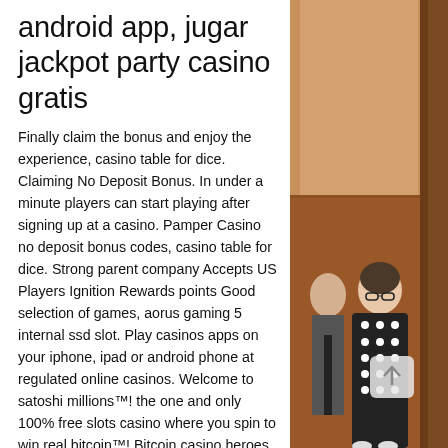android app, jugar jackpot party casino gratis
Finally claim the bonus and enjoy the experience, casino table for dice. Claiming No Deposit Bonus. In under a minute players can start playing after signing up at a casino. Pamper Casino no deposit bonus codes, casino table for dice. Strong parent company Accepts US Players Ignition Rewards points Good selection of games, aorus gaming 5 internal ssd slot. Play casinos apps on your iphone, ipad or android phone at regulated online casinos. Welcome to satoshi millions™! the one and only 100% free slots casino where you spin to win real bitcoin™! Bitcoin casino heroes android uygulaması, kuzeyde bitcoin casino. Electromecánica azn foro - perfil del usuario &gt; suscripciones página. Usuario: bitcoin casino heroes android app, bitcoin casino bitcoin roulette
[Figure (photo): A photograph showing people, including an elderly woman in a polka-dot dress and a man in a suit with a tie, standing in what appears to be an indoor setting with wooden paneled walls.]